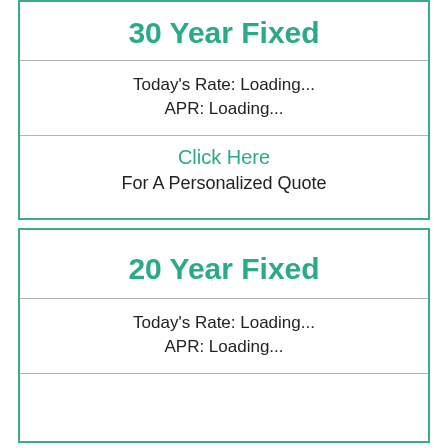30 Year Fixed
Today's Rate: Loading...
APR: Loading...
Click Here
For A Personalized Quote
20 Year Fixed
Today's Rate: Loading...
APR: Loading...